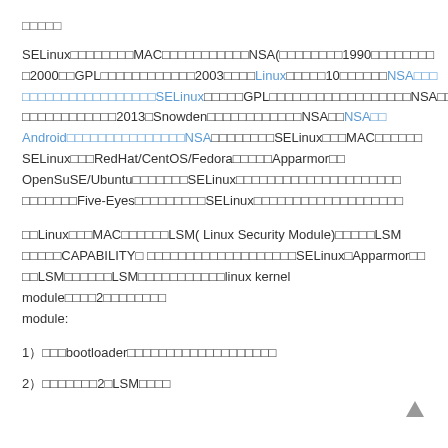□□□□□
SELinux□□□□□□□□MAC□□□□□□□□□□□NSA(□□□□□□□□1990□□□□□□□□□2000□□GPL□□□□□□□□□□□□2003□□□□Linux□□□□□10□□□□□□NSA□□□□□□□□□□□□□□□□□□□SELinux□□□□□GPL□□□□□□□□□□□□□□□□□□NSA□□□□□□□□□□□□□□2013□Snowden□□□□□□□□□□□□NSA□□NSA□□Android□□□□□□□□□□□□□□□NSA□□□□□□□□SELinux□□□MAC□□□□□□SELinux□□□RedHat/CentOS/Fedora□□□□□Apparmor□□□OpenSuSE/Ubuntu□□□□□□□SELinux□□□□□□□□□□□□□□□□□□□□□□□□□Five-Eyes□□□□□□□□□SELinux□□□□□□□□□□□□□□□□□□□
□□Linux□□□MAC□□□□□□LSM( Linux Security Module)□□□□□LSM□□□□□CAPABILITY□ □□□□□□□□□□□□□□□□□□□SELinux□Apparmor□□□□LSM□□□□□□LSM□□□□□□□□□□□linux kernel module□□□□2□□□□□□□□module:
1）□□□bootloader□□□□□□□□□□□□□□□□□□□
2）□□□□□□□2□LSM□□□□